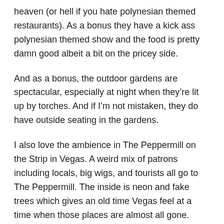heaven (or hell if you hate polynesian themed restaurants). As a bonus they have a kick ass polynesian themed show and the food is pretty damn good albeit a bit on the pricey side.
And as a bonus, the outdoor gardens are spectacular, especially at night when they're lit up by torches. And if I'm not mistaken, they do have outside seating in the gardens.
I also love the ambience in The Peppermill on the Strip in Vegas. A weird mix of patrons including locals, big wigs, and tourists all go to The Peppermill. The inside is neon and fake trees which gives an old time Vegas feel at a time when those places are almost all gone.